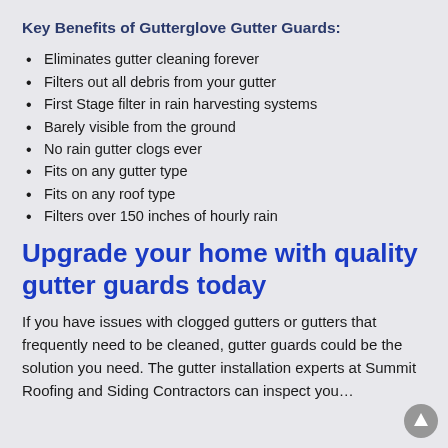Key Benefits of Gutterglove Gutter Guards:
Eliminates gutter cleaning forever
Filters out all debris from your gutter
First Stage filter in rain harvesting systems
Barely visible from the ground
No rain gutter clogs ever
Fits on any gutter type
Fits on any roof type
Filters over 150 inches of hourly rain
Upgrade your home with quality gutter guards today
If you have issues with clogged gutters or gutters that frequently need to be cleaned, gutter guards could be the solution you need. The gutter installation experts at Summit Roofing and Siding Contractors can inspect you…